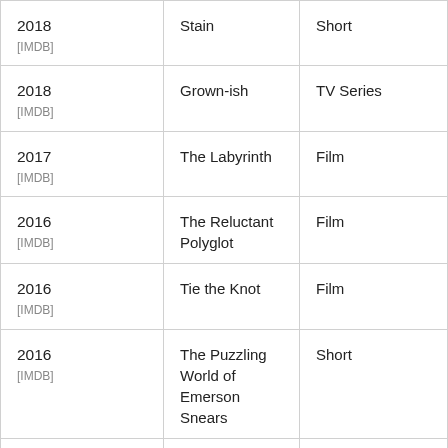| Year | Title | Type |
| --- | --- | --- |
| 2018 [IMDB] | Stain | Short |
| 2018 [IMDB] | Grown-ish | TV Series |
| 2017 [IMDB] | The Labyrinth | Film |
| 2016 [IMDB] | The Reluctant Polyglot | Film |
| 2016 [IMDB] | Tie the Knot | Film |
| 2016 [IMDB] | The Puzzling World of Emerson Snears | Short |
| 2015 [IMDB] | Hollyweird | TV Movie |